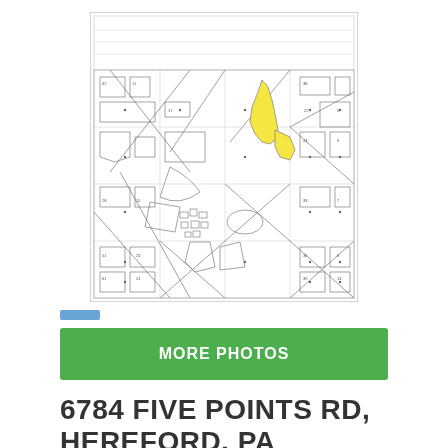[Figure (map): Cadastral/parcel map showing land parcels in Hereford, PA area with one parcel highlighted in yellow indicating the property at 6784 Five Points Rd.]
MORE PHOTOS
6784 FIVE POINTS RD, HEREFORD, PA